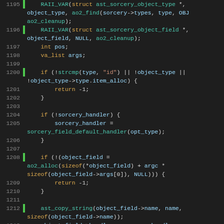[Figure (screenshot): Source code viewer showing C code lines 1195-1219+, dark theme editor with line numbers, green gutter indicators, and syntax highlighting. Code involves RAII_VAR macros, sorcery object types, ao2_find, ao2_cleanup, va_list, strcmp, sorcery_handler, ao2_alloc, ast_copy_string, va_start, and a for loop.]